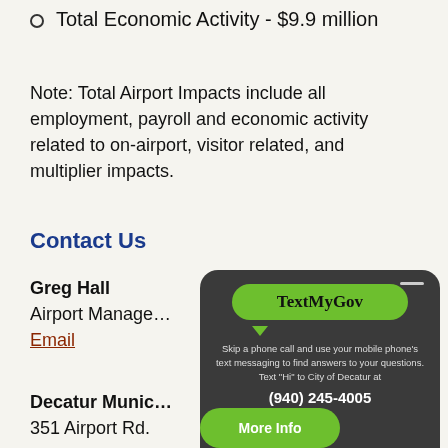Total Economic Activity - $9.9 million
Note: Total Airport Impacts include all employment, payroll and economic activity related to on-airport, visitor related, and multiplier impacts.
Contact Us
Greg Hall
Airport Manager
Email
Decatur Munic
351 Airport Rd.
Decatur, TX 762
Ph: 940-627-28
[Figure (infographic): TextMyGov phone mockup widget showing a speech bubble with 'TextMyGov' text in green, with message: 'Skip a phone call and use your mobile phone's text messaging to find answers to your questions. Text Hi to City of Decatur at (940) 245-4005', and a green 'More Info' button below.]